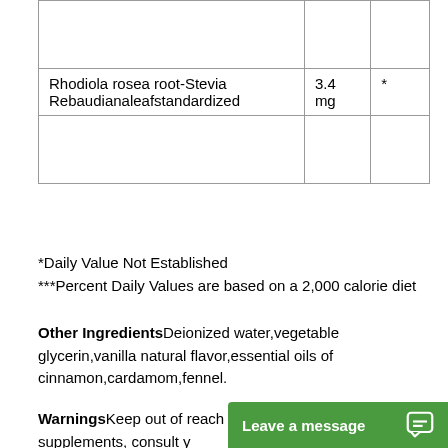|  |  |  |
| Rhodiola rosea root-Stevia Rebaudianaleafstandardized | 3.4 mg | * |
|  |  |  |
*Daily Value Not Established
***Percent Daily Values are based on a 2,000 calorie diet
Other IngredientsDeionized water,vegetable glycerin,vanilla natural flavor,essential oils of cinnamon,cardamom,fennel.
WarningsKeep out of reach of children. As with all dietary supplements, consult y...